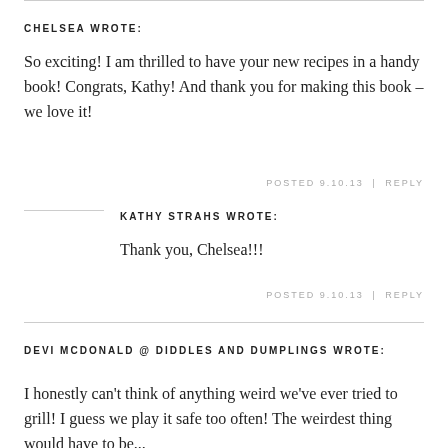CHELSEA WROTE:
So exciting! I am thrilled to have your new recipes in a handy book! Congrats, Kathy! And thank you for making this book – we love it!
POSTED 9.10.13 | REPLY
KATHY STRAHS WROTE:
Thank you, Chelsea!!!
POSTED 9.10.13 | REPLY
DEVI MCDONALD @ DIDDLES AND DUMPLINGS WROTE:
I honestly can't think of anything weird we've ever tried to grill! I guess we play it safe too often! The weirdest thing would have to be...